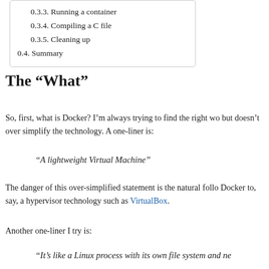0.3.3. Running a container
0.3.4. Compiling a C file
0.3.5. Cleaning up
0.4. Summary
The “What”
So, first, what is Docker? I’m always trying to find the right wo but doesn’t over simplify the technology. A one-liner is:
“A lightweight Virtual Machine”
The danger of this over-simplified statement is the natural follo Docker to, say, a hypervisor technology such as VirtualBox.
Another one-liner I try is:
“It’s like a Linux process with its own file system and ne